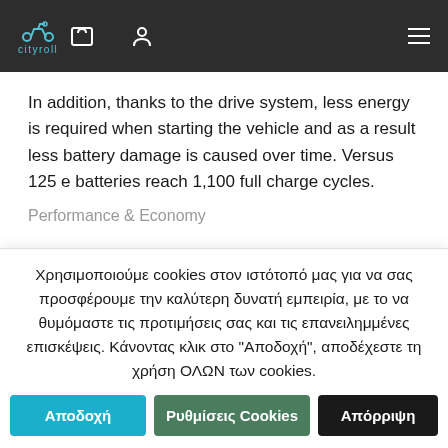cityroll — navigation header with logo, cart, account, and menu icons
In addition, thanks to the drive system, less energy is required when starting the vehicle and as a result less battery damage is caused over time. Versus 125 e batteries reach 1,100 full charge cycles.
Performance & Economy
Χρησιμοποιούμε cookies στον ιστότοπό μας για να σας προσφέρουμε την καλύτερη δυνατή εμπειρία, με το να θυμόμαστε τις προτιμήσεις σας και τις επανειλημμένες επισκέψεις. Κάνοντας κλικ στο "Αποδοχή", αποδέχεστε τη χρήση ΟΛΩΝ των cookies.
Αποδοχή
Ρυθμίσεις Cookies
Απόρριψη